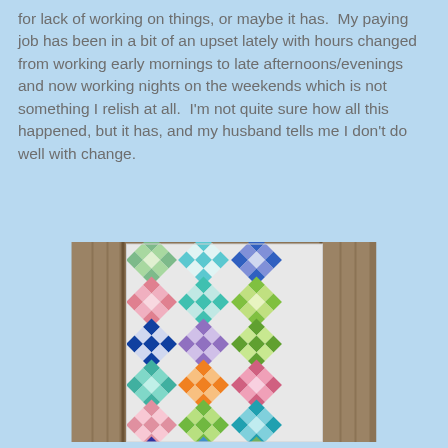for lack of working on things, or maybe it has.  My paying job has been in a bit of an upset lately with hours changed from working early mornings to late afternoons/evenings and now working nights on the weekends which is not something I relish at all.  I'm not quite sure how all this happened, but it has, and my husband tells me I don't do well with change.
[Figure (photo): A colorful patchwork quilt with nine-patch diamond blocks arranged in diagonal rows, displayed against a wooden fence. The quilt features blocks in shades of blue, green, pink, purple, orange, and white on a white background.]